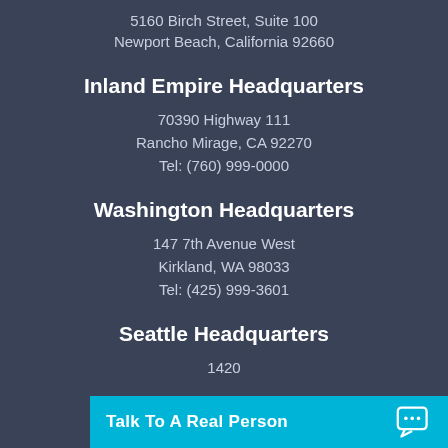5160 Birch Street, Suite 100
Newport Beach, California 92660
Inland Empire Headquarters
70390 Highway 111
Rancho Mirage, CA 92270
Tel: (760) 999-0000
Washington Headquarters
147 7th Avenue West
Kirkland, WA 98033
Tel: (425) 999-3601
Seattle Headquarters
1420…
Talk To A Real Person